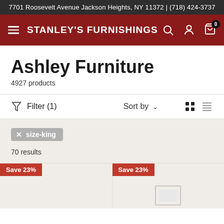7701 Roosevelt Avenue Jackson Heights, NY 11372 | (718) 424-3737
STANLEY'S FURNISHINGS
Ashley Furniture
4927 products
Filter (1)
Sort by
x  size-king
70 results
Save 23%
Save 23%